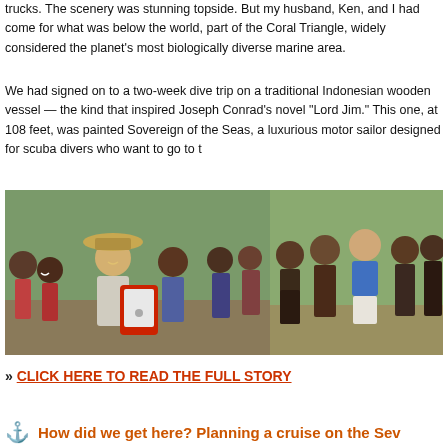trucks. The scenery was stunning topside. But my husband, Ken, and I had come for what was below the world, part of the Coral Triangle, widely considered the planet's most biologically diverse marine area.
We had signed on to a two-week dive trip on a traditional Indonesian wooden vessel — the kind that inspired Joseph Conrad's novel "Lord Jim." This one, at 108 feet, was painted Sovereign of the Seas, a luxurious motor sailor designed for scuba divers who want to go to t
[Figure (photo): Left photo: A woman with long blonde hair wearing a wide-brimmed hat shows a red Apple iPad tablet to a group of smiling local children and young people, several in colorful shirts, outdoors with green trees in background. Right photo: A woman in a blue shirt and shorts stands among a group of local people wearing traditional dark patterned clothing, outdoors in a village setting.]
» CLICK HERE TO READ THE FULL STORY
⚓ How did we get here? Planning a cruise on the Sev...